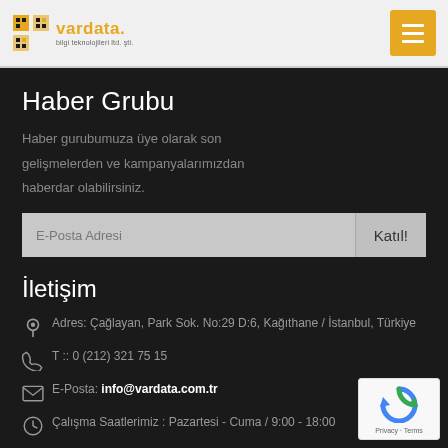vardata - bilgi teknolojileri ltd. şti.
Haber Grubu
Haber gurubumuza üye olarak son gelişmelerden ve kampanyalarımızdan haberdar olabilirsiniz.
E-Posta Adresi [input] Katıl! [button]
İletişim
Adres: Çağlayan, Park Sok. No:29 D:6, Kağıthane / İstanbul, Türkiye
T :: 0 (212) 321 75 15
E-Posta: info@vardata.com.tr
Çalışma Saatlerimiz : Pazartesi - Cuma / 9:00 - 18:00
[Figure (logo): reCAPTCHA badge with Privacy and Terms links]